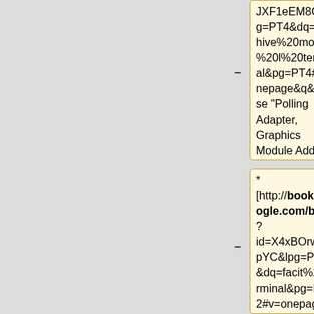JXF1eEM8C&lpg=PT4&dq=beehive%20model%20l%20terminal&pg=PT4#v=onepage&q&f=false "Polling Adapter, Graphics Module Added to CRT Line"]
* [http://books.google.com/books?id=X4xBOrwFEpYC&lpg=PT32&dq=facit%20terminal&pg=PT32#v=onepage&q&f=false "Beehive
==Ongoing Wiki Work==